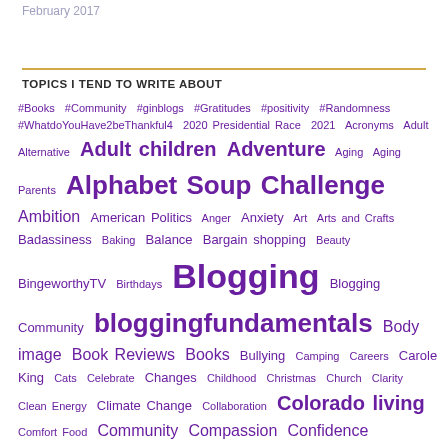February 2017
TOPICS I TEND TO WRITE ABOUT
#Books #Community #ginblogs #Gratitudes #positivity #Randomness #WhatdoYouHave2beThankful4 2020 Presidential Race 2021 Acronyms Adult Alternative Adult children Adventure Aging Aging Parents Alphabet Soup Challenge Ambition American Politics Anger Anxiety Art Arts and Crafts Badassiness Baking Balance Bargain shopping Beauty BingeworthyTV Birthdays Blogging Blogging Community bloggingfundamentals Body image Book Reviews Books Bullying Camping Careers Carole King Cats Celebrate Changes Childhood Christmas Church Clarity Clean Energy Climate Change Collaboration Colorado living Comfort Food Community Compassion Confidence Cooking Covid-19 Craft Beer Creative Writing Dancing Dawes Death Diving Dogs Donuts Dreams Education Emotions Employment